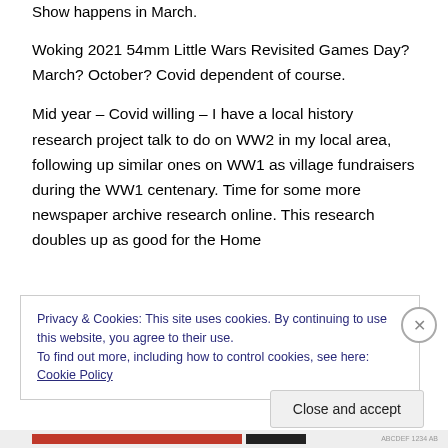Show happens in March.
Woking 2021 54mm Little Wars Revisited Games Day? March? October? Covid dependent of course.
Mid year – Covid willing – I have a local history research project talk to do on WW2 in my local area, following up similar ones on WW1 as village fundraisers during the WW1 centenary. Time for some more newspaper archive research online. This research doubles up as good for the Home
Privacy & Cookies: This site uses cookies. By continuing to use this website, you agree to their use.
To find out more, including how to control cookies, see here: Cookie Policy
Close and accept